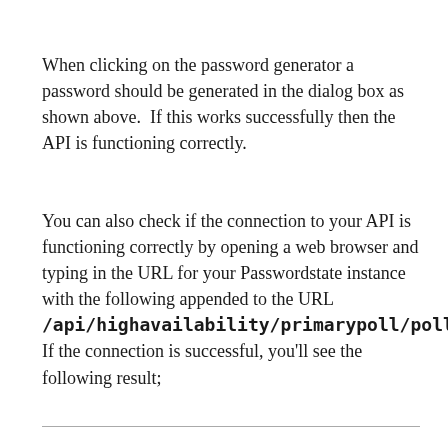When clicking on the password generator a password should be generated in the dialog box as shown above.  If this works successfully then the API is functioning correctly.
You can also check if the connection to your API is functioning correctly by opening a web browser and typing in the URL for your Passwordstate instance with the following appended to the URL /api/highavailability/primarypoll/polltest.  If the connection is successful, you'll see the following result;